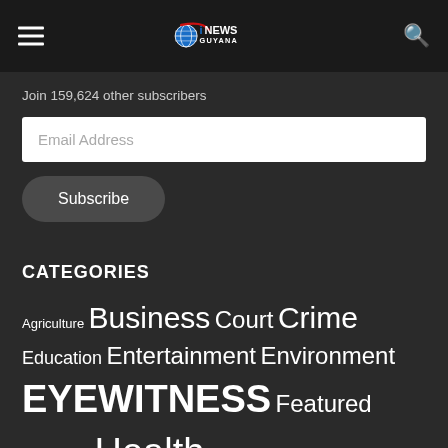iNEWS GUYANA
Join 159,624 other subscribers
Email Address
Subscribe
CATEGORIES
Agriculture
Business
Court
Crime
Education
Entertainment
Environment
EYEWITNESS
Featured
Gadgets
Health
Internet
latest news
Letters